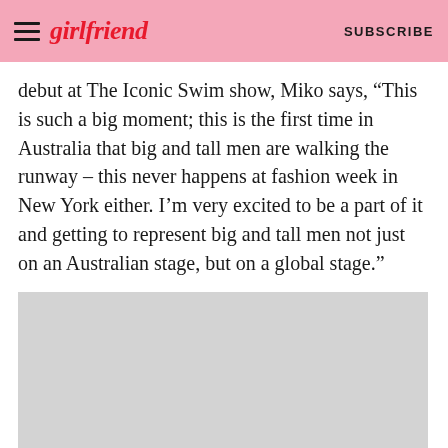girlfriend | SUBSCRIBE
debut at The Iconic Swim show, Miko says, “This is such a big moment; this is the first time in Australia that big and tall men are walking the runway – this never happens at fashion week in New York either. I’m very excited to be a part of it and getting to represent big and tall men not just on an Australian stage, but on a global stage.”
[Figure (photo): Gray placeholder image area]